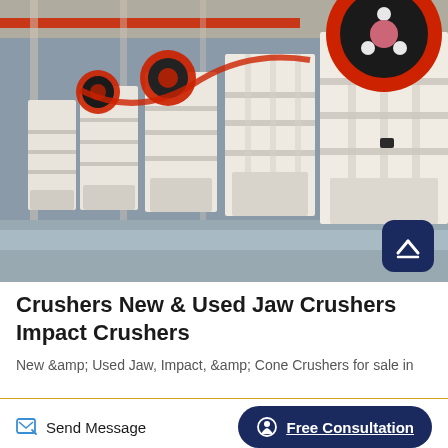[Figure (photo): Row of large white jaw crushers in an industrial factory/warehouse setting, with red flywheels visible. A prominent dark navy blue rounded-square scroll-to-top button with a white upward chevron/arrow overlaid in the bottom-right of the image.]
Crushers New & Used Jaw Crushers Impact Crushers
New &amp; Used Jaw, Impact, &amp; Cone Crushers for sale in
Send Message
Free Consultation